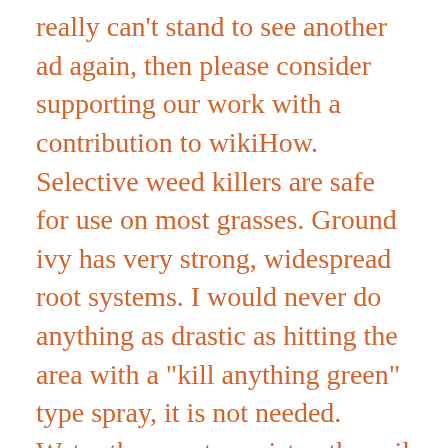really can't stand to see another ad again, then please consider supporting our work with a contribution to wikiHow. Selective weed killers are safe for use on most grasses. Ground ivy has very strong, widespread root systems. I would never do anything as drastic as hitting the area with a "kill anything green" type spray, it is not needed. Water the area to moisten the soil to a depth of 12 inches. Consider whether you need to create a drainage ditch if your yard is located in a low-lying area and is collecting runoff from nearby buildings or roads during rain showers. Ivy is a woody stemmed, self-clinging climber that can grow quickly into the canopy of a tree. Overseed